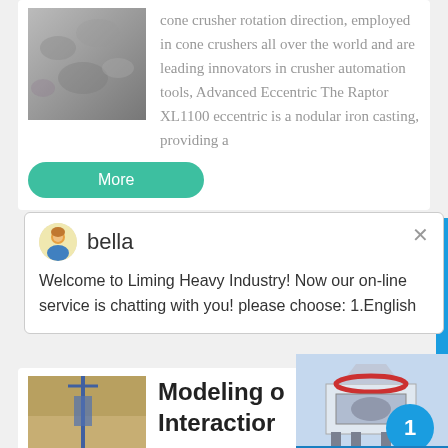[Figure (photo): Close-up photo of crushed stone or aggregate material, gray texture]
cone crusher rotation direction, employed in cone crushers all over the world and are leading innovators in crusher automation tools, Advanced Eccentric The Raptor XL1100 eccentric is a nodular iron casting, providing a
More
[Figure (screenshot): Chat popup from Liming Heavy Industry website with avatar of agent named bella]
bella
Welcome to Liming Heavy Industry! Now our on-line service is chatting with you! please choose: 1.English
[Figure (photo): Construction or mining site photo showing machinery or drilling equipment]
Modeling of Interaction
[Figure (photo): Industrial cone crusher machine photo on blue background]
1
Click me to chat>>
Enquiry
oywweitml@gmail.c